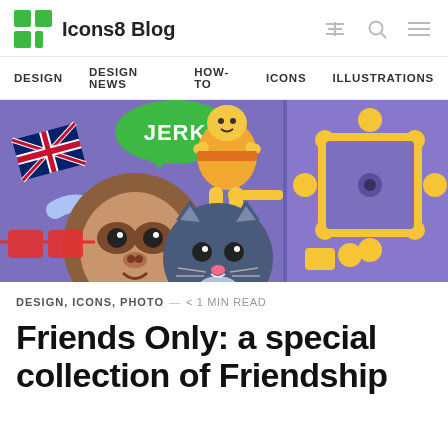Icons8 Blog
DESIGN   DESIGN NEWS   HOW-TO   ICONS   ILLUSTRATIONS
[Figure (illustration): Blog hero image with a purple background showing cartoon illustrations: a sloth face, a cat face, British flag, 'JERK' sign, a bell character, yellow ornate frame/mirror on the right side, red sunglasses, and other colorful characters — split into two panels side by side.]
DESIGN, ICONS, PHOTO — < 1 MIN READ
Friends Only: a special collection of Friendship